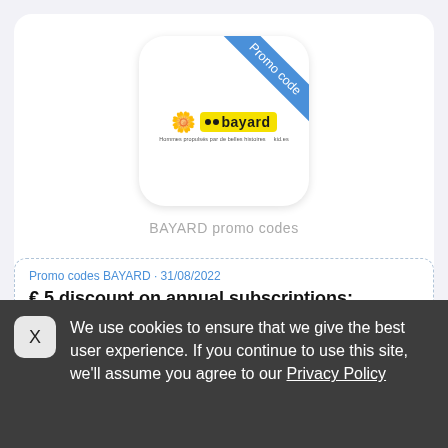[Figure (logo): Bayard logo inside a white rounded card with a blue diagonal 'Promo code' banner in the top-right corner. The logo shows a flower icon and a yellow badge with 'bayard' text.]
BAYARD promo codes
Promo codes BAYARD • 31/08/2022
€ 5 discount on annual subscriptions;
€ 5 discount on annual subscriptions; only valid for annual
We use cookies to ensure that we give the best user experience. If you continue to use this site, we'll assume you agree to our Privacy Policy